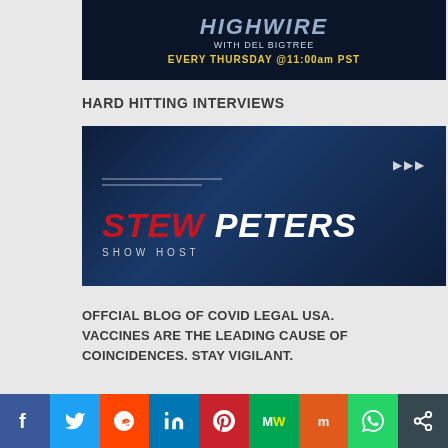[Figure (screenshot): HighWire show banner with text 'WITH DEL BIGTREE' and 'EVERY THURSDAY @11:00am PST' on dark blue background]
HARD HITTING INTERVIEWS
[Figure (screenshot): Stew Peters Show Host promotional image with dark blue background showing a man, text 'STEW PETERS' in red and white, 'SHOW HOST' below]
OFFCIAL BLOG OF COVID LEGAL USA. VACCINES ARE THE LEADING CAUSE OF COINCIDENCES. STAY VIGILANT.
[Figure (infographic): Social media share bar with icons for Facebook, Twitter, Reddit, LinkedIn, Pinterest, MeWe, Mix, WhatsApp, and Share]